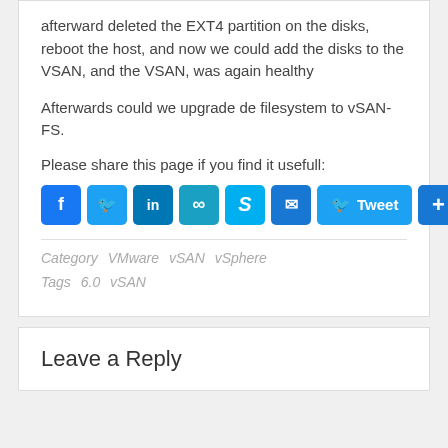afterward deleted the EXT4 partition on the disks, reboot the host, and now we could add the disks to the VSAN, and the VSAN, was again healthy
Afterwards could we upgrade de filesystem to vSAN-FS.
Please share this page if you find it usefull:
[Figure (infographic): Social share buttons: Facebook, Twitter, LinkedIn, Link, Skype, Email, Tweet, Plus]
Category   VMware  vSAN  vSphere
Tags   6.0  vSAN
Leave a Reply